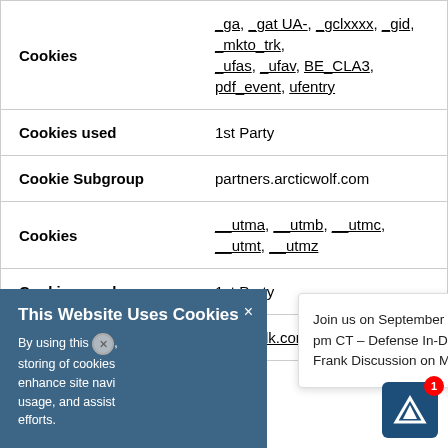| Cookies | _ga, _gat UA-, _gclxxxx, _gid, _mkto_trk, _ufas, _ufav, BE_CLA3, pdf_event, ufentry |
| Cookies used | 1st Party |
| Cookie Subgroup | partners.arcticwolf.com |
| Cookies | __utma, __utmb, __utmc, __utmt, __utmz |
| Cookies used | 1st Party |
| Cookie Subgroup | brighttalk.com |
[Figure (screenshot): Cookie consent banner overlay with text 'This Website Uses Cookies' and a close button, showing partial text about storing cookies to enhance site navigation.]
[Figure (screenshot): Popup notification: 'Join us on September 1, 2022 at 1 pm CT – Defense In-Depth: A Fresh, Frank Discussion on Multi-Laye...']
[Figure (logo): Arctic Wolf icon button with notification badge showing '1']